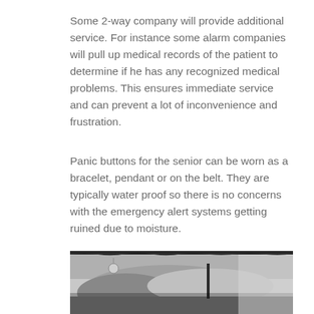Some 2-way company will provide additional service. For instance some alarm companies will pull up medical records of the patient to determine if he has any recognized medical problems. This ensures immediate service and can prevent a lot of inconvenience and frustration.
Panic buttons for the senior can be worn as a bracelet, pendant or on the belt. They are typically water proof so there is no concerns with the emergency alert systems getting ruined due to moisture.
[Figure (photo): Grayscale photograph showing a person's hands and arms on a surface, possibly writing or working, with a pendant or device visible. The image is partially cropped at the bottom of the page.]